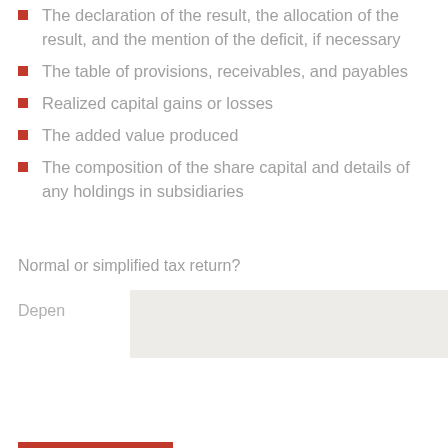The declaration of the result, the allocation of the result, and the mention of the deficit, if necessary
The table of provisions, receivables, and payables
Realized capital gains or losses
The added value produced
The composition of the share capital and details of any holdings in subsidiaries
Normal or simplified tax return?
Depen
READ MORE